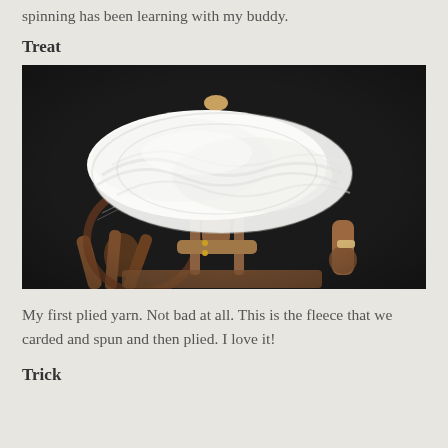spinning has been learning with my buddy.
Treat
[Figure (photo): A hank of white plied yarn resting on a wooden spinning wheel, photographed against a dark background.]
My first plied yarn. Not bad at all. This is the fleece that we carded and spun and then plied. I love it!
Trick